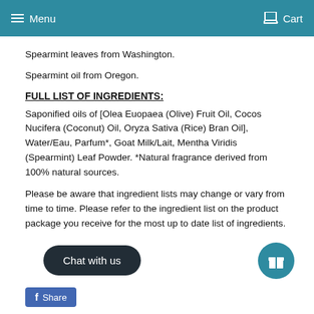Menu   Cart
Spearmint leaves from Washington.
Spearmint oil from Oregon.
FULL LIST OF INGREDIENTS:
Saponified oils of [Olea Euopaea (Olive) Fruit Oil, Cocos Nucifera (Coconut) Oil, Oryza Sativa (Rice) Bran Oil], Water/Eau, Parfum*, Goat Milk/Lait, Mentha Viridis (Spearmint) Leaf Powder. *Natural fragrance derived from 100% natural sources.
Please be aware that ingredient lists may change or vary from time to time. Please refer to the ingredient list on the product package you receive for the most up to date list of ingredients.